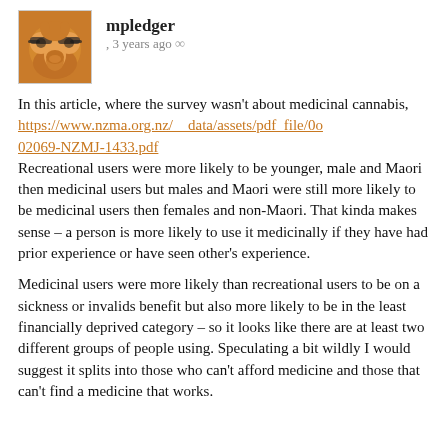[Figure (photo): Avatar image of user mpledger, showing a muppet-like character with orange fur, glasses, and a large nose]
mpledger, 3 years ago ∞
In this article, where the survey wasn't about medicinal cannabis, https://www.nzma.org.nz/__data/assets/pdf_file/0o02069-NZMJ-1433.pdf Recreational users were more likely to be younger, male and Maori then medicinal users but males and Maori were still more likely to be medicinal users then females and non-Maori. That kinda makes sense – a person is more likely to use it medicinally if they have had prior experience or have seen other's experience.
Medicinal users were more likely than recreational users to be on a sickness or invalids benefit but also more likely to be in the least financially deprived category – so it looks like there are at least two different groups of people using. Speculating a bit wildly I would suggest it splits into those who can't afford medicine and those that can't find a medicine that works.